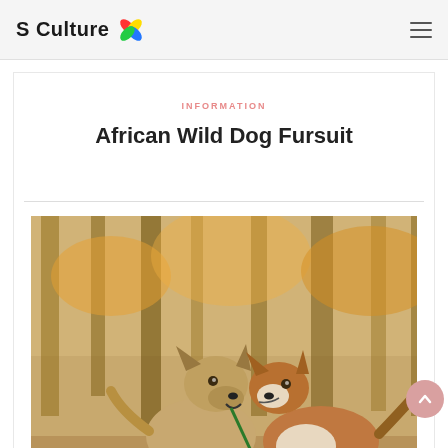S Culture
INFORMATION
African Wild Dog Fursuit
[Figure (photo): Two dogs in an autumn forest setting. One dog holds a red rose in its mouth while the other nuzzles close to it.]